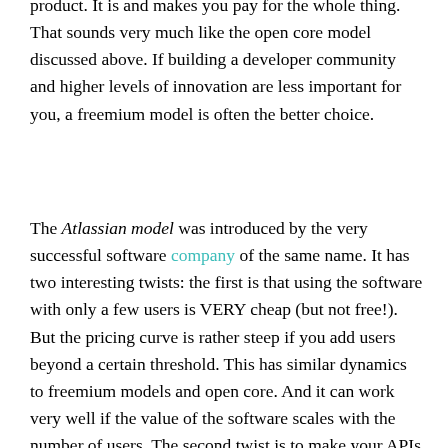product. It is and makes you pay for the whole thing. That sounds very much like the open core model discussed above. If building a developer community and higher levels of innovation are less important for you, a freemium model is often the better choice.
The Atlassian model was introduced by the very successful software company of the same name. It has two interesting twists: the first is that using the software with only a few users is VERY cheap (but not free!). But the pricing curve is rather steep if you add users beyond a certain threshold. This has similar dynamics to freemium models and open core. And it can work very well if the value of the software scales with the number of users. The second twist is to make your APIs very well